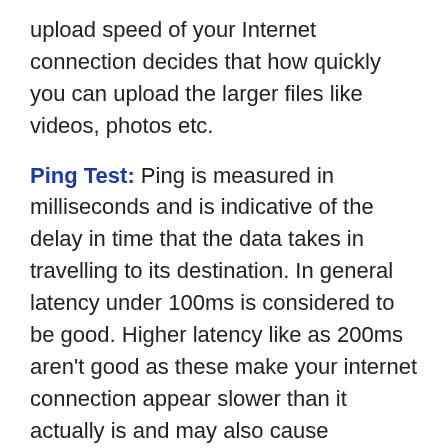upload speed of your Internet connection decides that how quickly you can upload the larger files like videos, photos etc.
Ping Test: Ping is measured in milliseconds and is indicative of the delay in time that the data takes in travelling to its destination. In general latency under 100ms is considered to be good. Higher latency like as 200ms aren't good as these make your internet connection appear slower than it actually is and may also cause interruptions in the activities like video chatting.
Jitter Test: Jitter is measured in milliseconds and is indicative of the delay in time that the